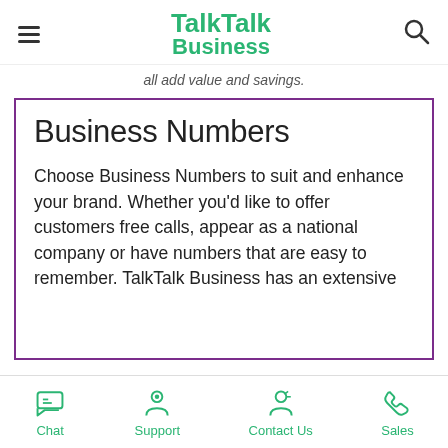TalkTalk Business
all add value and savings.
Business Numbers
Choose Business Numbers to suit and enhance your brand. Whether you'd like to offer customers free calls, appear as a national company or have numbers that are easy to remember. TalkTalk Business has an extensive
Chat | Support | Contact Us | Sales